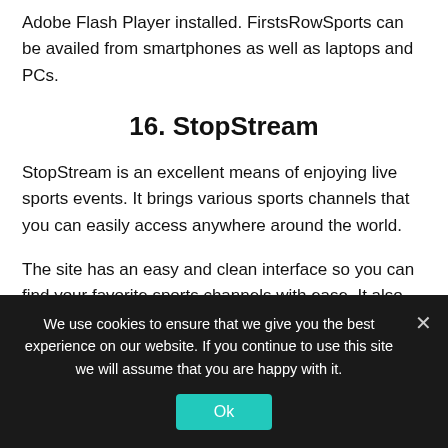Adobe Flash Player installed. FirstsRowSports can be availed from smartphones as well as laptops and PCs.
16. StopStream
StopStream is an excellent means of enjoying live sports events. It brings various sports channels that you can easily access anywhere around the world.
The site has an easy and clean interface so you can find your favorite sports channels with ease. It also offers several categories so you can find your favorite channel easily.
We use cookies to ensure that we give you the best experience on our website. If you continue to use this site we will assume that you are happy with it.